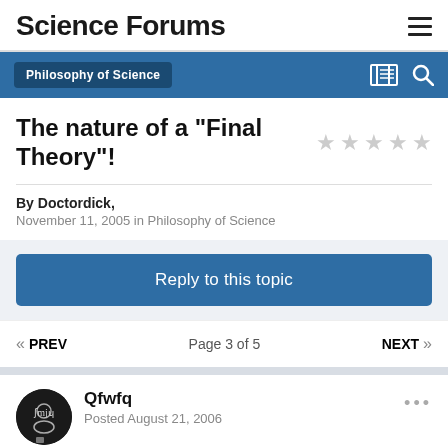Science Forums
Philosophy of Science
The nature of a "Final Theory"!
By Doctordick,
November 11, 2005 in Philosophy of Science
Reply to this topic
« PREV   Page 3 of 5   NEXT »
Qfwfq
Posted August 21, 2006